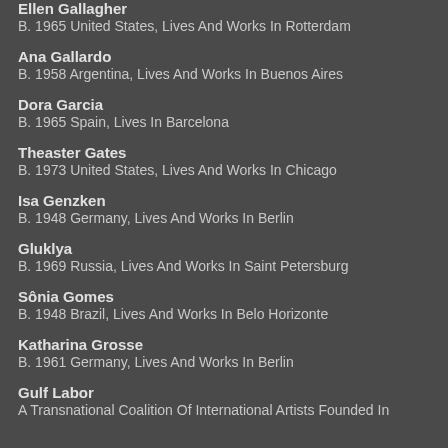Ellen Gallagher
B. 1965 United States, Lives And Works In Rotterdam
Ana Gallardo
B. 1958 Argentina, Lives And Works In Buenos Aires
Dora Garcia
B. 1965 Spain, Lives In Barcelona
Theaster Gates
B. 1973 United States, Lives And Works In Chicago
Isa Genzken
B. 1948 Germany, Lives And Works In Berlin
Gluklya
B. 1969 Russia, Lives And Works In Saint Petersburg
Sônia Gomes
B. 1948 Brazil, Lives And Works In Belo Horizonte
Katharina Grosse
B. 1961 Germany, Lives And Works In Berlin
Gulf Labor
A Transnational Coalition Of International Artists Founded In 2010